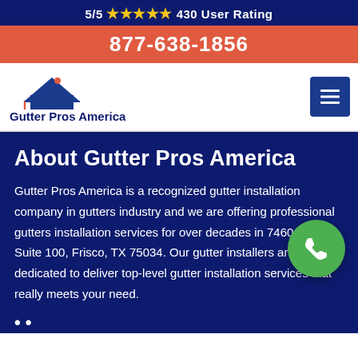5/5 ★★★★★ 430 User Rating
877-638-1856
[Figure (logo): Gutter Pros America logo: a dark blue house/roof silhouette with a red chimney dot, and the text 'Gutter Pros America' below]
About Gutter Pros America
Gutter Pros America is a recognized gutter installation company in gutters industry and we are offering professional gutters installation services for over decades in 7460 Pkwy Suite 100, Frisco, TX 75034. Our gutter installers are dedicated to deliver top-level gutter installation services that really meets your need.